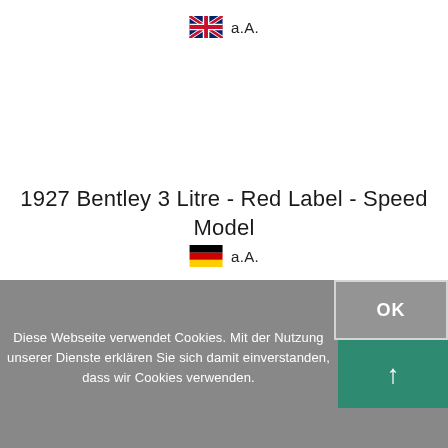[Figure (illustration): UK flag (Union Jack) icon followed by text 'a.A.']
1927 Bentley 3 Litre - Red Label - Speed Model
[Figure (illustration): German flag icon followed by text 'a.A.']
Diese Webseite verwendet Cookies. Mit der Nutzung unserer Dienste erklären Sie sich damit einverstanden, dass wir Cookies verwenden.